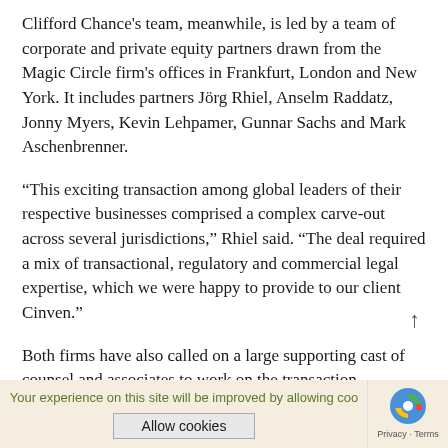Clifford Chance's team, meanwhile, is led by a team of corporate and private equity partners drawn from the Magic Circle firm's offices in Frankfurt, London and New York. It includes partners Jörg Rhiel, Anselm Raddatz, Jonny Myers, Kevin Lehpamer, Gunnar Sachs and Mark Aschenbrenner.
“This exciting transaction among global leaders of their respective businesses comprised a complex carve-out across several jurisdictions,” Rhiel said. “The deal required a mix of transactional, regulatory and commercial legal expertise, which we were happy to provide to our client Cinven.”
Both firms have also called on a large supporting cast of counsel and associates to work on the transaction.
Upon closing, the terms of the deal will see BESP keep a collaborative relationship with Bayer in the spirit of maintaining the environmental, regulatory and employee
Your experience on this site will be improved by allowing cookies   Allow cookies